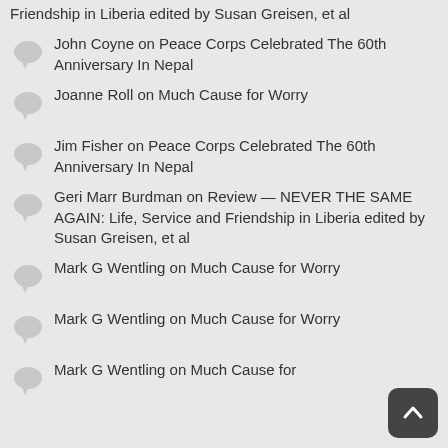Friendship in Liberia edited by Susan Greisen, et al
John Coyne on Peace Corps Celebrated The 60th Anniversary In Nepal
Joanne Roll on Much Cause for Worry
Jim Fisher on Peace Corps Celebrated The 60th Anniversary In Nepal
Geri Marr Burdman on Review — NEVER THE SAME AGAIN: Life, Service and Friendship in Liberia edited by Susan Greisen, et al
Mark G Wentling on Much Cause for Worry
Mark G Wentling on Much Cause for Worry
Mark G Wentling on Much Cause for